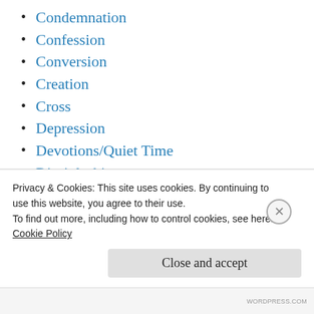Condemnation
Confession
Conversion
Creation
Cross
Depression
Devotions/Quiet Time
Discipleship
Emergent
Evangelism
Failing
Privacy & Cookies: This site uses cookies. By continuing to use this website, you agree to their use. To find out more, including how to control cookies, see here: Cookie Policy
Close and accept
WORDPRESS.COM